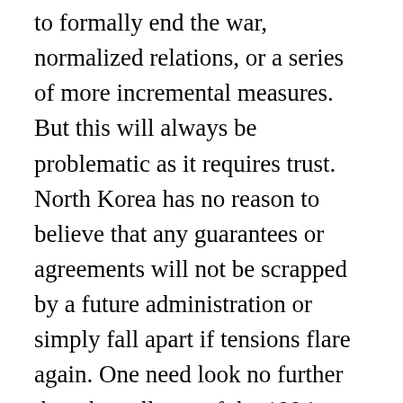to formally end the war, normalized relations, or a series of more incremental measures. But this will always be problematic as it requires trust. North Korea has no reason to believe that any guarantees or agreements will not be scrapped by a future administration or simply fall apart if tensions flare again. One need look no further than the collapse of the 1994 Agreed Framework or the failure of the Six Party Talks. Though North Korea bears significant blame for these breakdowns, they nevertheless highlight how fragile the trust between the U.S. and North Korea can be. Furthermore, the recent trend in both U.S. and South Korean presidents withdrawing from international and bilateral